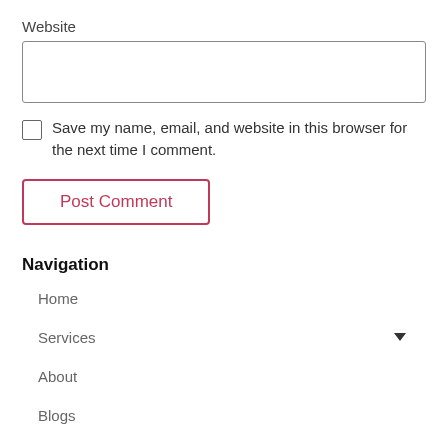Website
[Figure (other): Empty text input field for website URL]
[Figure (other): Unchecked checkbox]
Save my name, email, and website in this browser for the next time I comment.
[Figure (other): Post Comment button with pink/red border and text]
Navigation
Home
Services
About
Blogs